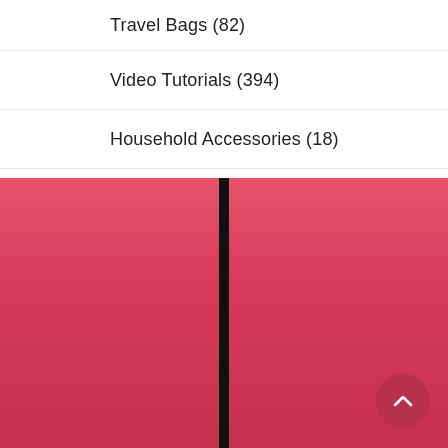Travel Bags (82)
Video Tutorials (394)
Household Accessories (18)
Bagmaking Books (0)
[Figure (other): Pink/red gradient background panel with a vertical black bar in the center and a semi-transparent dark pink circular scroll-to-top button in the bottom right corner]